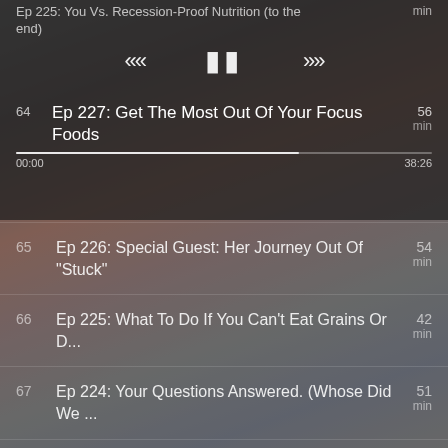[Figure (screenshot): Podcast app player interface showing a dark blurred background with playback controls and a list of podcast episodes numbered 64-70.]
Ep 225: You Vs. Recession-Proof Nutrition (to the end)
64  Ep 227: Get The Most Out Of Your Focus Foods  56 min  00:00  38:26
65  Ep 226: Special Guest: Her Journey Out Of "Stuck"  54 min
66  Ep 225: What To Do If You Can't Eat Grains Or D...  42 min
67  Ep 224: Your Questions Answered. (Whose Did We ...  51 min
68  Ep 223: You Need These Four "R's" in Your Life!  44 min
69  Ep 222: What if Rice Could Slim You?  54 min
70  Ep 221: Dear Serene...  43